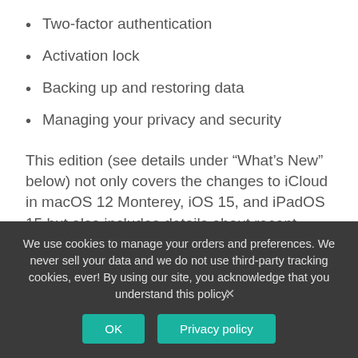Two-factor authentication
Activation lock
Backing up and restoring data
Managing your privacy and security
This edition (see details under “What’s New” below) not only covers the changes to iCloud in macOS 12 Monterey, iOS 15, and iPadOS 15 but also includes details about recent changes to iCloud that span operating systems, including iCloud+. It also continues to cover macOS 10.15 Catalina, macOS 11 Big Sur, and iOS 14/iPadOS 14, but drops coverage of earlier operating system versions.
We use cookies to manage your orders and preferences. We never sell your data and we do not use third-party tracking cookies, ever! By using our site, you acknowledge that you understand this policy.